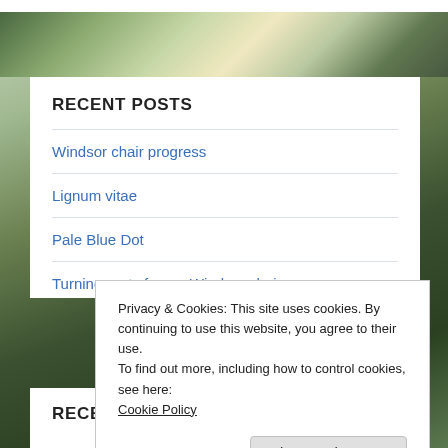[Figure (photo): Forest header image with trees and light filtering through, with purple wildflowers visible]
RECENT POSTS
Windsor chair progress
Lignum vitae
Pale Blue Dot
Turning parts for my Windsor chair
Privacy & Cookies: This site uses cookies. By continuing to use this website, you agree to their use.
To find out more, including how to control cookies, see here:
Cookie Policy
Close and accept
RECENT COMMENTS